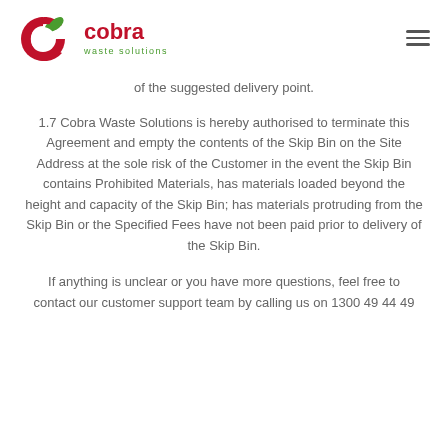Cobra Waste Solutions
of the suggested delivery point.
1.7 Cobra Waste Solutions is hereby authorised to terminate this Agreement and empty the contents of the Skip Bin on the Site Address at the sole risk of the Customer in the event the Skip Bin contains Prohibited Materials, has materials loaded beyond the height and capacity of the Skip Bin; has materials protruding from the Skip Bin or the Specified Fees have not been paid prior to delivery of the Skip Bin.
If anything is unclear or you have more questions, feel free to contact our customer support team by calling us on 1300 49 44 49